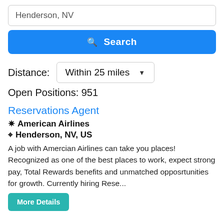Henderson, NV
Search
Distance: Within 25 miles
Open Positions: 951
Reservations Agent
American Airlines
Henderson, NV, US
A job with Amercian Airlines can take you places! Recognized as one of the best places to work, expect strong pay, Total Rewards benefits and unmatched opposrtunities for growth. Currently hiring Rese...
More Details